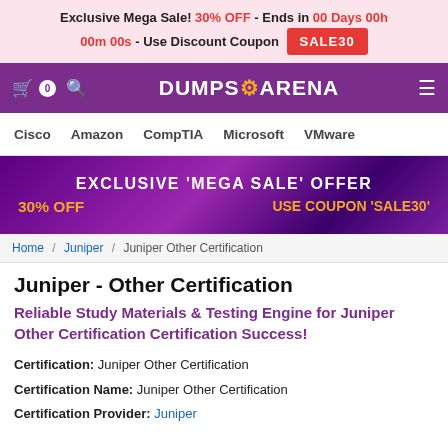Exclusive Mega Sale! 30% OFF - Ends in 00 Days 00h 00m 00s - Use Discount Coupon SALE30
DUMPS ARENA - Navigation bar with cart, search, logo, and menu
Cisco Amazon CompTIA Microsoft VMware
[Figure (infographic): Purple promotional banner: EXCLUSIVE 'MEGA SALE' OFFER, 30% OFF, USE COUPON 'SALE30']
Home / Juniper / Juniper Other Certification
Juniper - Other Certification
Reliable Study Materials & Testing Engine for Juniper Other Certification Certification Success!
Certification: Juniper Other Certification
Certification Name: Juniper Other Certification
Certification Provider: Juniper